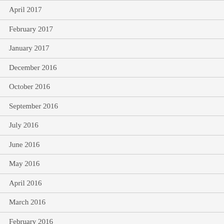April 2017
February 2017
January 2017
December 2016
October 2016
September 2016
July 2016
June 2016
May 2016
April 2016
March 2016
February 2016
January 2016